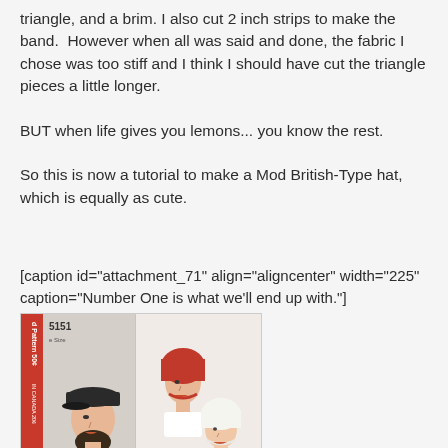triangle, and a brim. I also cut 2 inch strips to make the band.  However when all was said and done, the fabric I chose was too stiff and I think I should have cut the triangle pieces a little longer.
BUT when life gives you lemons... you know the rest.
So this is now a tutorial to make a Mod British-Type hat, which is equally as cute.
[caption id="attachment_71" align="aligncenter" width="225" caption="Number One is what we'll end up with."]
[Figure (photo): Vintage sewing pattern cover showing women wearing mod British-type hats, including a dark flat cap and white bonnets. Pattern number visible as 5151, price 50 cents.]